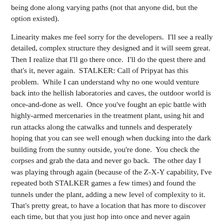being done along varying paths (not that anyone did, but the option existed).

Linearity makes me feel sorry for the developers.  I'll see a really detailed, complex structure they designed and it will seem great.  Then I realize that I'll go there once.  I'll do the quest there and that's it, never again.  STALKER: Call of Pripyat has this problem.  While I can understand why no one would venture back into the hellish laboratories and caves, the outdoor world is once-and-done as well.  Once you've fought an epic battle with highly-armed mercenaries in the treatment plant, using hit and run attacks along the catwalks and tunnels and desperately hoping that you can see well enough when ducking into the dark building from the sunny outside, you're done.  You check the corpses and grab the data and never go back.  The other day I was playing through again (because of the Z-X-Y capability, I've repeated both STALKER games a few times) and found the tunnels under the plant, adding a new level of complexity to it.  That's pretty great, to have a location that has more to discover each time, but that you just hop into once and never again (barring creating a new game).  Contrast this with the first game in the series where the main story will loop back to